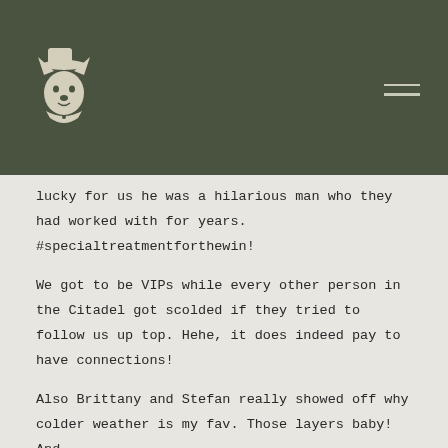[Figure (logo): White wolf/dog head logo illustration on dark olive green background header with hamburger menu icon in top right]
lucky for us he was a hilarious man who they had worked with for years. #specialtreatmentforthewin!
We got to be VIPs while every other person in the Citadel got scolded if they tried to follow us up top. Hehe, it does indeed pay to have connections!
Also Brittany and Stefan really showed off why colder weather is my fav. Those layers baby! And